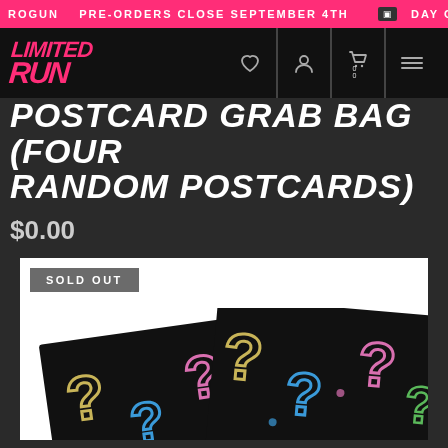ROGUN  PRE-ORDERS CLOSE SEPTEMBER 4TH  DAY OF T
[Figure (logo): Limited Run Games logo in pink/magenta on black header]
POSTCARD GRAB BAG (FOUR RANDOM POSTCARDS)
$0.00
SOLD OUT
[Figure (photo): Two black postcards with colorful question marks (yellow, blue, pink, green) overlapping each other]